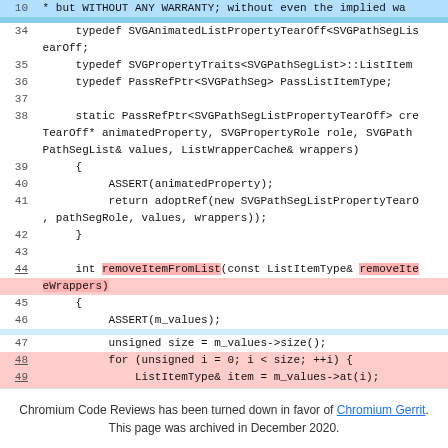[Figure (screenshot): Source code view showing C++ code lines 10, 34-53 with some lines highlighted in pink/red (diff view) and a blue separator. Lines 44, 48-53 are highlighted pink indicating removed or changed code.]
Chromium Code Reviews has been turned down in favor of Chromium Gerrit. This page was archived in December 2020.